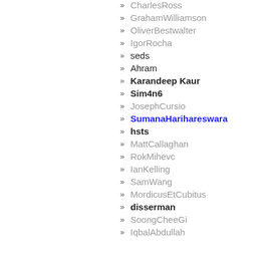» CharlesRoss
» GrahamWilliamson
» OliverBestwalter
» IgorRocha
» seds
» Ahram
» Karandeep Kaur
» Sim4n6
» JosephCursio
» SumanaHarihareswara
» hsts
» MattCallaghan
» RokMihevc
» IanKelling
» SamWang
» MordicusEtCubitus
» disserman
» SoongCheeGi
» IqbalAbdullah